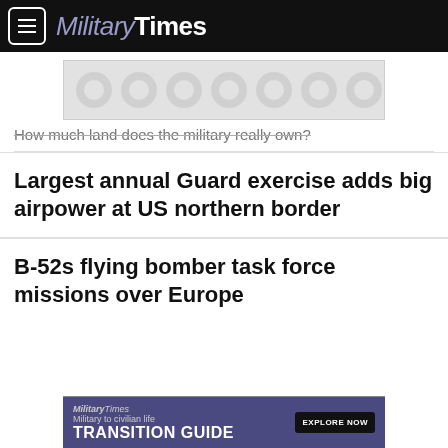Military Times
[Figure (other): Advertisement banner with decorative circle pattern background]
How much land does the military really own?
Largest annual Guard exercise adds big airpower at US northern border
B-52s flying bomber task force missions over Europe
[Figure (other): Military Times Transition Guide advertisement banner - Military to civilian life - EXPLORE NOW button]